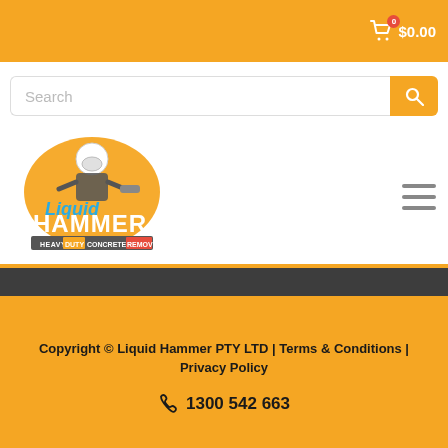$0.00
[Figure (screenshot): Search bar with orange search button]
[Figure (logo): Liquid Hammer Heavy Duty Concrete Remover logo with a masked worker figure]
Copyright © Liquid Hammer PTY LTD | Terms & Conditions | Privacy Policy
☎ 1300 542 663